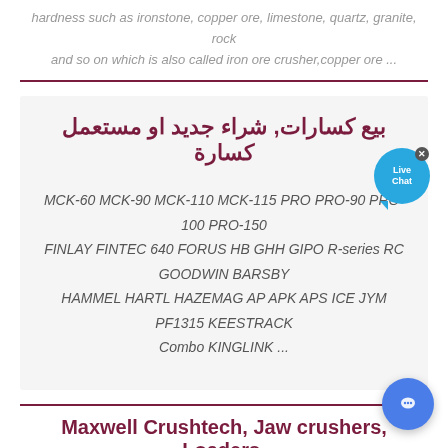hardness such as ironstone, copper ore, limestone, quartz, granite, rock and so on which is also called iron ore crusher,copper ore ...
[Figure (other): Live Chat button - blue speech bubble icon with 'Live Chat' text and X close button]
بيع كسارات, شراء جديد او مستعمل كسارة
MCK-60 MCK-90 MCK-110 MCK-115 PRO PRO-90 PRO-100 PRO-150 FINLAY FINTEC 640 FORUS HB GHH GIPO R-series RC GOODWIN BARSBY HAMMEL HARTL HAZEMAG AP APK APS ICE JYM PF1315 KEESTRACK Combo KINGLINK ...
Maxwell Crushtech, Jaw crushers, Loaders,
[Figure (other): Blue circular message/chat button at bottom right corner]